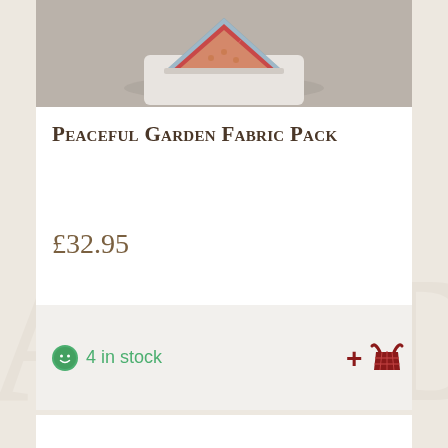[Figure (photo): Folded floral fabric pack in diamond/heart shape on white surface, showing red, pink, green and blue patterned fabrics]
Peaceful Garden Fabric Pack
£32.95
4 in stock
[Figure (other): Add to basket button with plus sign and shopping basket icon in dark red]